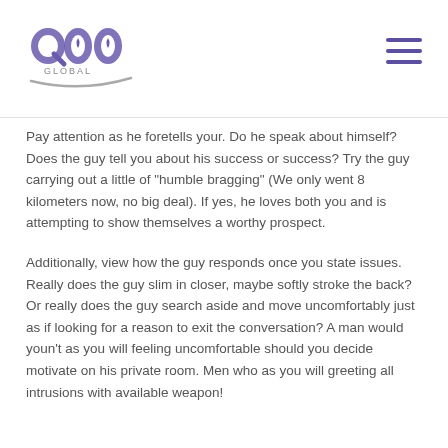[Figure (logo): Q00 Global logo with stylized lettering and swoosh]
Pay attention as he foretells your. Do he speak about himself? Does the guy tell you about his success or success? Try the guy carrying out a little of “humble bragging” (We only went 8 kilometers now, no big deal). If yes, he loves both you and is attempting to show themselves a worthy prospect.
Additionally, view how the guy responds once you state issues. Really does the guy slim in closer, maybe softly stroke the back? Or really does the guy search aside and move uncomfortably just as if looking for a reason to exit the conversation? A man would youn’t as you will feeling uncomfortable should you decide motivate on his private room. Men who as you will greeting all intrusions with available weapon!